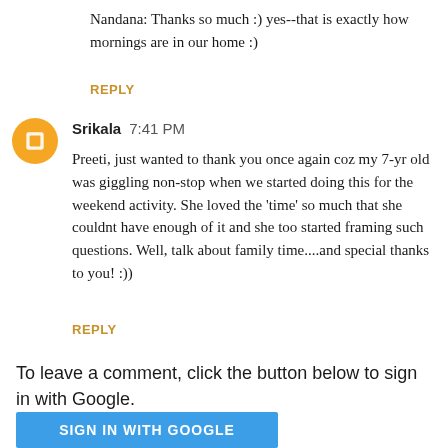Nandana: Thanks so much :) yes--that is exactly how mornings are in our home :)
REPLY
Srikala  7:41 PM
Preeti, just wanted to thank you once again coz my 7-yr old was giggling non-stop when we started doing this for the weekend activity. She loved the 'time' so much that she couldnt have enough of it and she too started framing such questions. Well, talk about family time....and special thanks to you! :))
REPLY
To leave a comment, click the button below to sign in with Google.
SIGN IN WITH GOOGLE